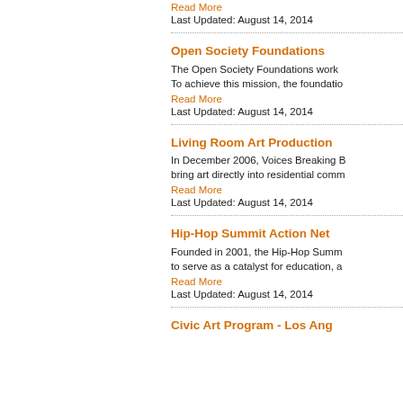Last Updated: August 14, 2014
Open Society Foundations
The Open Society Foundations work... To achieve this mission, the foundatio...
Read More
Last Updated: August 14, 2014
Living Room Art Production
In December 2006, Voices Breaking B... bring art directly into residential comm...
Read More
Last Updated: August 14, 2014
Hip-Hop Summit Action Net
Founded in 2001, the Hip-Hop Summ... to serve as a catalyst for education, a...
Read More
Last Updated: August 14, 2014
Civic Art Program - Los Ang